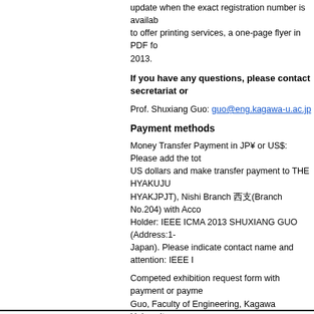update when the exact registration number is available to offer printing services, a one-page flyer in PDF fo 2013.
If you have any questions, please contact secretariat or
Prof. Shuxiang Guo: guo@eng.kagawa-u.ac.jp
Payment methods
Money Transfer Payment in JP¥ or US$: Please add the tot US dollars and make transfer payment to THE HYAKUJU HYAKJPJT), Nishi Branch 西支(Branch No.204) with Acco Holder: IEEE ICMA 2013 SHUXIANG GUO (Address:1- Japan). Please indicate contact name and attention: IEEE I
Competed exhibition request form with payment or payme Guo, Faculty of Engineering, Kagawa University.
by
Fax: +81-87-864-2369
or
E-mail: guo@eng.kagawa-u.ac.jp.